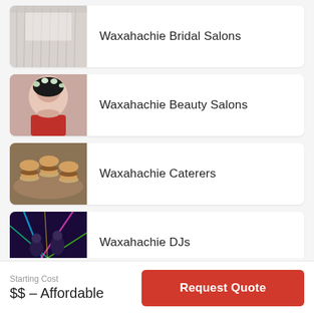Waxahachie Bridal Salons
Waxahachie Beauty Salons
Waxahachie Caterers
Waxahachie DJs
Starting Cost
$$ – Affordable
Request Quote